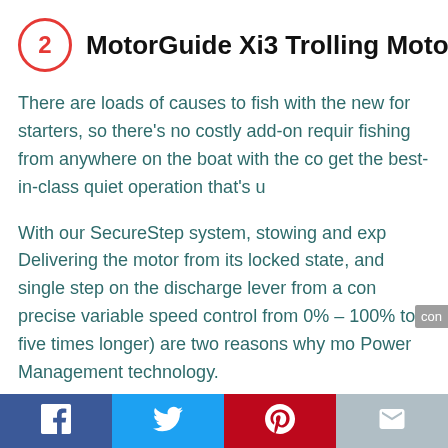MotorGuide Xi3 Trolling Moto
There are loads of causes to fish with the new for starters, so there's no costly add-on requir fishing from anywhere on the boat with the co get the best-in-class quiet operation that's u
With our SecureStep system, stowing and exp Delivering the motor from its locked state, and single step on the discharge lever from a con precise variable speed control from 0% – 100% to five times longer) are two reasons why mo Power Management technology.
Facebook | Twitter | Pinterest | Email